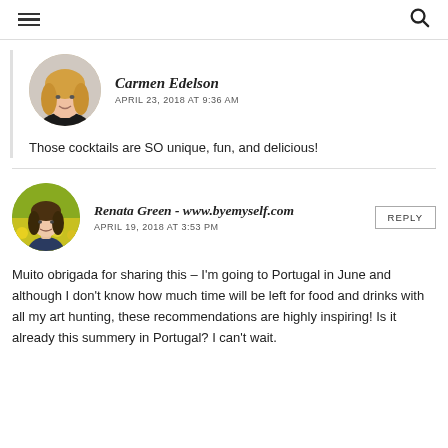≡  🔍
Carmen Edelson
APRIL 23, 2018 AT 9:36 AM
Those cocktails are SO unique, fun, and delicious!
Renata Green - www.byemyself.com
APRIL 19, 2018 AT 3:53 PM
Muito obrigada for sharing this – I'm going to Portugal in June and although I don't know how much time will be left for food and drinks with all my art hunting, these recommendations are highly inspiring! Is it already this summery in Portugal? I can't wait.